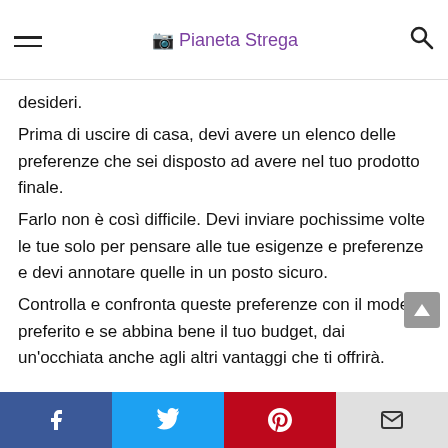Pianeta Strega
desideri.
Prima di uscire di casa, devi avere un elenco delle preferenze che sei disposto ad avere nel tuo prodotto finale.
Farlo non è così difficile. Devi inviare pochissime volte le tue solo per pensare alle tue esigenze e preferenze e devi annotare quelle in un posto sicuro.
Controlla e confronta queste preferenze con il modello preferito e se abbina bene il tuo budget, dai un'occhiata anche agli altri vantaggi che ti offrirà.
Facebook | Twitter | Pinterest | Email